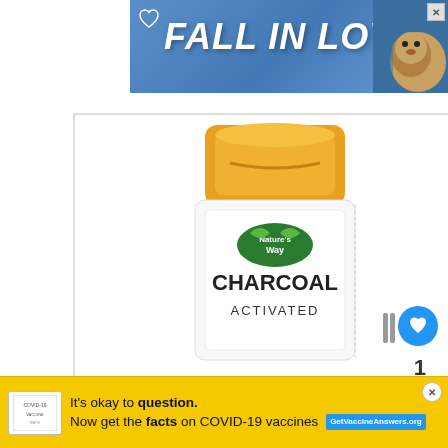[Figure (photo): Top advertisement banner with blue gradient background reading FALL IN LOVE in bold white italic text with a heart icon and a dog photo on the right, plus a close X button]
[Figure (photo): Nature's Way Charcoal Activated supplement bottle with yellow/orange cap and white label showing CHARCOAL ACTIVATED text, inside a white bordered box]
[Figure (infographic): Right sidebar showing a blue heart/like button with count of 1 and a share icon]
WHAT'S NEXT → Do You Really Need Lip...
[Figure (photo): Bottom yellow advertisement banner with text: It's okay to question. Now get the facts on COVID-19 vaccines. GetVaccineAnswers.org]
[Figure (photo): Small thumbnail image of lips for the What's Next article]